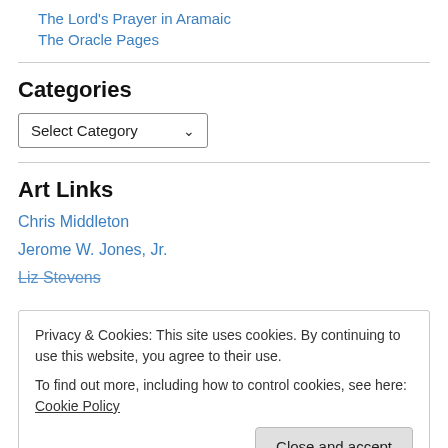The Lord's Prayer in Aramaic
The Oracle Pages
Categories
Select Category
Art Links
Chris Middleton
Jerome W. Jones, Jr.
Liz Stevens
Privacy & Cookies: This site uses cookies. By continuing to use this website, you agree to their use.
To find out more, including how to control cookies, see here: Cookie Policy
Close and accept